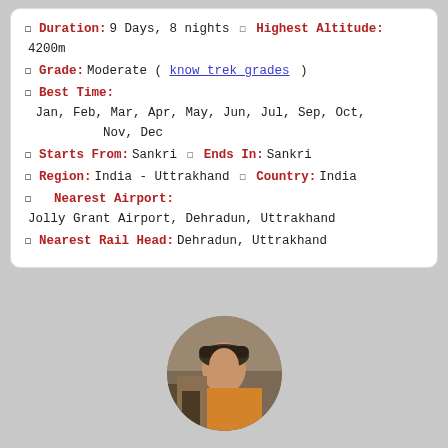Duration: 9 Days, 8 nights   Highest Altitude: 4200m
Grade: Moderate ( know trek grades )
Best Time: Jan, Feb, Mar, Apr, May, Jun, Jul, Sep, Oct, Nov, Dec
Starts From: Sankri   Ends In: Sankri
Region: India - Uttrakhand   Country: India
Nearest Airport: Jolly Grant Airport, Dehradun, Uttrakhand
Nearest Rail Head: Dehradun, Uttrakhand
[Figure (photo): Circular avatar photo of a man wearing a cap and orange/yellow shirt with a backpack, outdoors.]
Every day I keep learning new things, but as of now, I as a Loyal Himalayan Lover, Avid Trekker, Student Photographer and an Enthusiastic Anthropologist. I Engineer by education and previously worked as a Software (truncated)